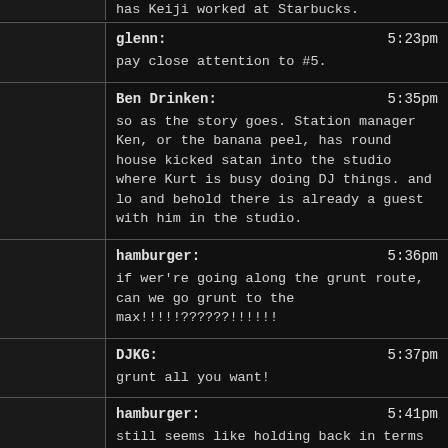has Keiji worked at Starbucks.
glenn: 5:23pm
pay close attention to #5.
Ben Drinken: 5:35pm
so as the story goes. Station manager Ken, or the banana peel, has round house kicked satan into the studio where Kurt is busy doing DJ things. and lo and behold there is already a guest with him in the studio.
hamburger: 5:36pm
if wer're going along the grunt route, can we go grunt to the max!!!!!??????!!!!!!
DJKG: 5:37pm
grunt all you want!
hamburger: 5:41pm
still seems like holding back in terms of gruntish-ness, MOAR GRUNT?
DJKG: 5:41pm